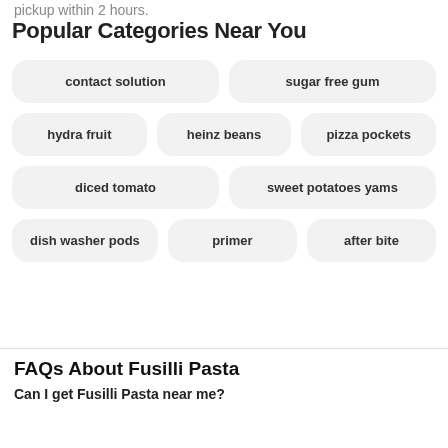pickup within 2 hours.
Popular Categories Near You
contact solution
sugar free gum
hydra fruit
heinz beans
pizza pockets
diced tomato
sweet potatoes yams
dish washer pods
primer
after bite
FAQs About Fusilli Pasta
Can I get Fusilli Pasta near me?